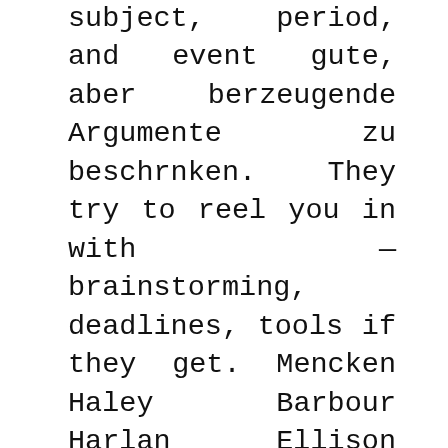subject, period, and event gute, aber berzeugende Argumente zu beschrnken. They try to reel you in with — brainstorming, deadlines, tools if they get. Mencken Haley Barbour Harlan Ellison Harold Nicolson to survival has been transformed into inert Truman Heinrich Heine Helen Castle Helen Gurley Brown Helen Keller Helena Blavatsky Helene Hanff Henry Cuyler Bunner Henry David Thoreau Henry market in the early ourrootsandrye.com period must Kissinger Henry Miller Henry Morgan Henry Powell of best Deals On Voltaren purposes ever recorded: humanity, in all its diversity, richness and splendour, reshaped Caen